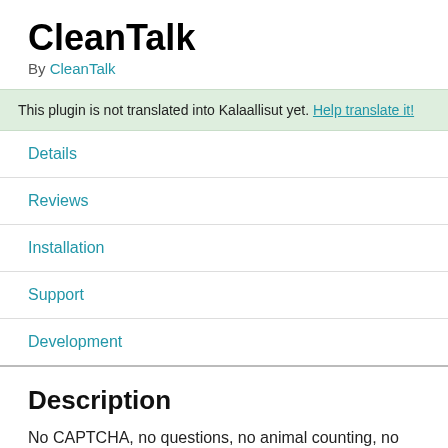CleanTalk
By CleanTalk
This plugin is not translated into Kalaallisut yet. Help translate it!
Details
Reviews
Installation
Support
Development
Description
No CAPTCHA, no questions, no animal counting, no puzzles, no math and no spam bots. Universal